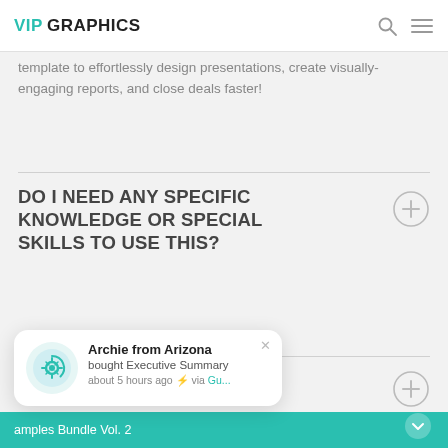VIP GRAPHICS
template to effortlessly design presentations, create visually-engaging reports, and close deals faster!
DO I NEED ANY SPECIFIC KNOWLEDGE OR SPECIAL SKILLS TO USE THIS?
IS
Archie from Arizona bought Executive Summary about 5 hours ago ⚡ via Gu...
amples Bundle Vol. 2